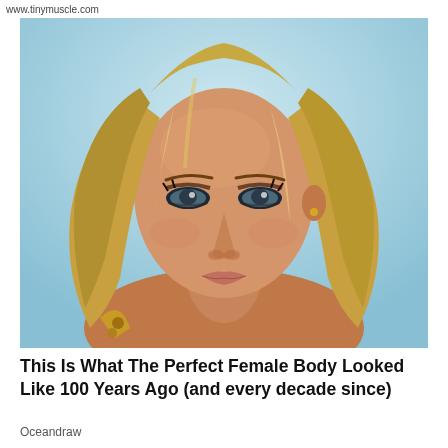www.tinymuscle.com
[Figure (photo): Close-up portrait photo of a blonde female model with long wavy hair, wearing a gold accessory/strap, against a light blue background. She has prominent eye makeup and is looking directly at the camera.]
This Is What The Perfect Female Body Looked Like 100 Years Ago (and every decade since)
Oceandraw